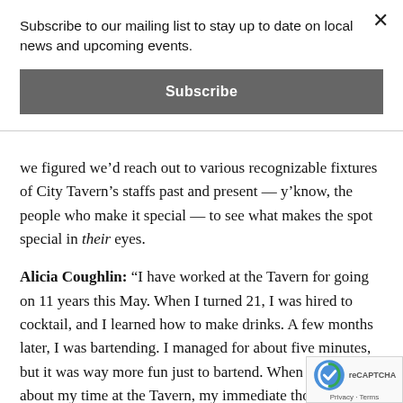Subscribe to our mailing list to stay up to date on local news and upcoming events.
Subscribe
we figured we’d reach out to various recognizable fixtures of City Tavern’s staffs past and present — y’know, the people who make it special — to see what makes the spot special in their eyes.
Alicia Coughlin: “I have worked at the Tavern for going on 11 years this May. When I turned 21, I was hired to cocktail, and I learned how to make drinks. A few months later, I was bartending. I managed for about five minutes, but it was way more fun just to bartend. When I think about my time at the Tavern, my immediate thought is ‘Wow, it’s been long time!’ But I wouldn’t change a minute. I’ve met a second family. I have so many memories there, I don’t know if I could come up with just one. A lot of them would be inappropriate to repeat — it is a bar, and it is a fun bar. Ten years in the bar business is impressive — especially in an area has changed so much. City